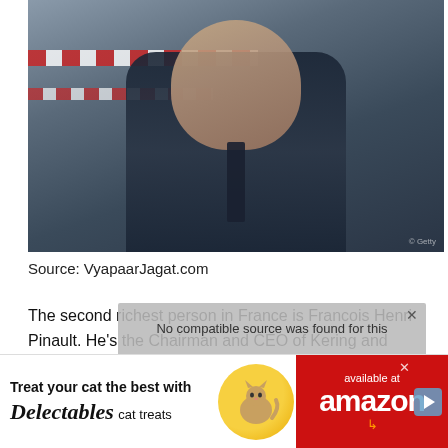[Figure (photo): Portrait photo of François-Henri Pinault in a dark navy suit with a dark tie, against a grey stone background. Red and white barrier tape visible on the left side.]
Source: VyapaarJagat.com
The second richest person in France is Francois Henri Pinault. He's the Chairman and CEO of Kering and President of Groupe Artémis. It is the ...
[Figure (screenshot): Video overlay showing 'No compatible source was found for this' message over a greyed-out video player with images of men in background.]
[Figure (photo): Advertisement banner: 'Treat your cat the best with Delectables cat treats' with cat image and Amazon branding on red background.]